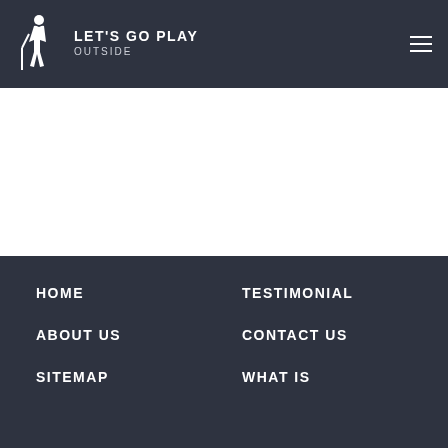LET'S GO PLAY OUTSIDE
HOME
TESTIMONIAL
ABOUT US
CONTACT US
SITEMAP
WHAT IS